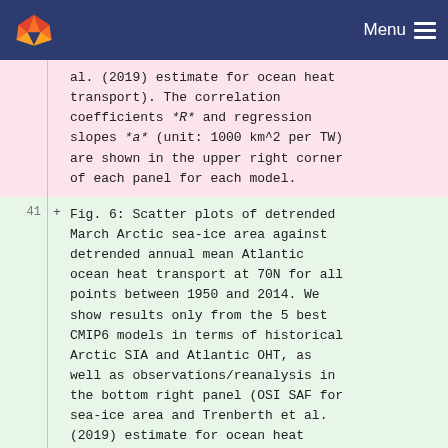Menu
al. (2019) estimate for ocean heat transport). The correlation coefficients *R* and regression slopes *a* (unit: 1000 km^2 per TW) are shown in the upper right corner of each panel for each model.
41 + Fig. 6: Scatter plots of detrended March Arctic sea-ice area against detrended annual mean Atlantic ocean heat transport at 70N for all points between 1950 and 2014. We show results only from the 5 best CMIP6 models in terms of historical Arctic SIA and Atlantic OHT, as well as observations/reanalysis in the bottom right panel (OSI SAF for sea-ice area and Trenberth et al. (2019) estimate for ocean heat transport). The correlation coefficients *R* and regression